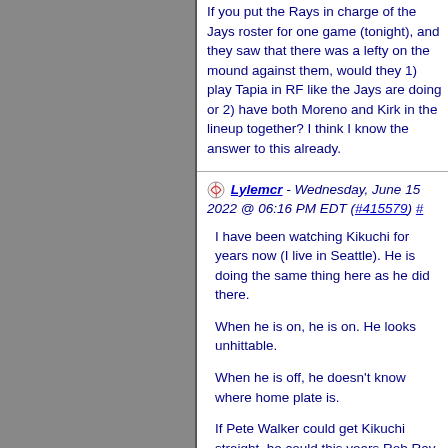If you put the Rays in charge of the Jays roster for one game (tonight), and they saw that there was a lefty on the mound against them, would they 1) play Tapia in RF like the Jays are doing or 2) have both Moreno and Kirk in the lineup together? I think I know the answer to this already.
⚾ Lylemcr - Wednesday, June 15 2022 @ 06:16 PM EDT (#415579) #
I have been watching Kikuchi for years now (I live in Seattle). He is doing the same thing here as he did there.
When he is on, he is on. He looks unhittable.
When he is off, he doesn't know where home plate is.
If Pete Walker could get Kikuchi straight, he could this years Rob Ray. Before the last 5 starts, he had a 3.38 ERA. Then he blew...